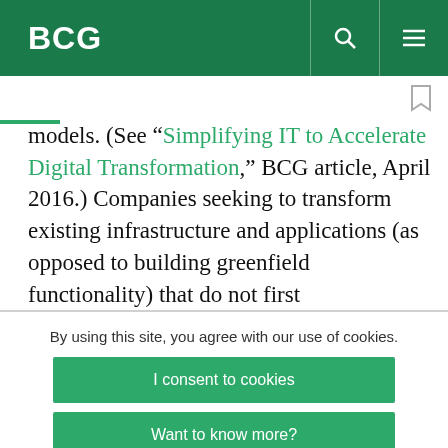BCG
models. (See “Simplifying IT to Accelerate Digital Transformation,” BCG article, April 2016.) Companies seeking to transform existing infrastructure and applications (as opposed to building greenfield functionality) that do not first
By using this site, you agree with our use of cookies.
I consent to cookies
Want to know more?
Read our Cookie Policy